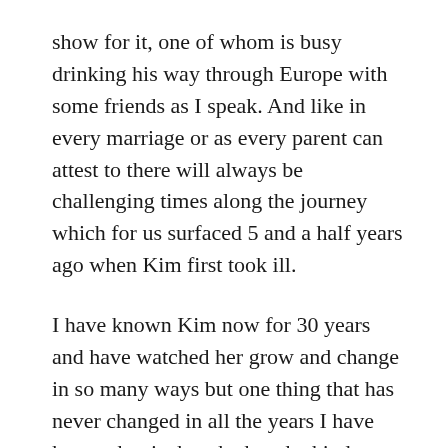show for it, one of whom is busy drinking his way through Europe with some friends as I speak. And like in every marriage or as every parent can attest to there will always be challenging times along the journey which for us surfaced 5 and a half years ago when Kim first took ill.
I have known Kim now for 30 years and have watched her grow and change in so many ways but one thing that has never changed in all the years I have known her is that she has the kindest heart, and she has so much determination and so much will. I know that Kim no longer sees these incredible attributes within herself because of what depression has taken from her but lucky for her there are so